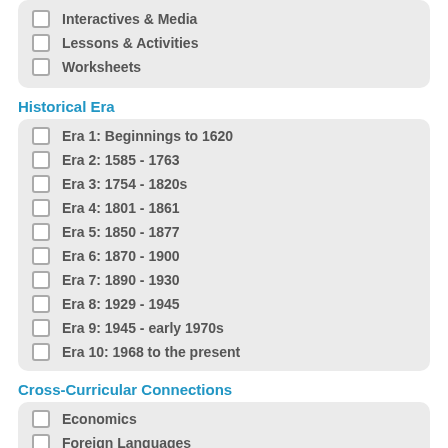Interactives & Media
Lessons & Activities
Worksheets
Historical Era
Era 1: Beginnings to 1620
Era 2: 1585 - 1763
Era 3: 1754 - 1820s
Era 4: 1801 - 1861
Era 5: 1850 - 1877
Era 6: 1870 - 1900
Era 7: 1890 - 1930
Era 8: 1929 - 1945
Era 9: 1945 - early 1970s
Era 10: 1968 to the present
Cross-Curricular Connections
Economics
Foreign Languages